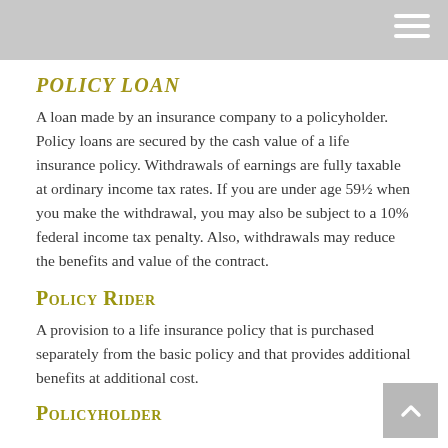POLICY LOAN
A loan made by an insurance company to a policyholder. Policy loans are secured by the cash value of a life insurance policy. Withdrawals of earnings are fully taxable at ordinary income tax rates. If you are under age 59½ when you make the withdrawal, you may also be subject to a 10% federal income tax penalty. Also, withdrawals may reduce the benefits and value of the contract.
Policy Rider
A provision to a life insurance policy that is purchased separately from the basic policy and that provides additional benefits at additional cost.
Policyholder